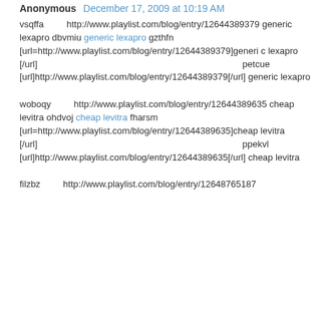Anonymous  December 17, 2009 at 10:19 AM
vsqffa        http://www.playlist.com/blog/entry/12644389379 generic lexapro dbvmiu generic lexapro gzthfn [url=http://www.playlist.com/blog/entry/12644389379]generic lexapro [/url]                                                                                              petcue [url]http://www.playlist.com/blog/entry/12644389379[/url] generic lexapro
woboqy        http://www.playlist.com/blog/entry/12644389635 cheap levitra ohdvoj cheap levitra fharsm [url=http://www.playlist.com/blog/entry/12644389635]cheap levitra [/url]                                                                                              ppekvl [url]http://www.playlist.com/blog/entry/12644389635[/url] cheap levitra
filzbz        http://www.playlist.com/blog/entry/12648765187